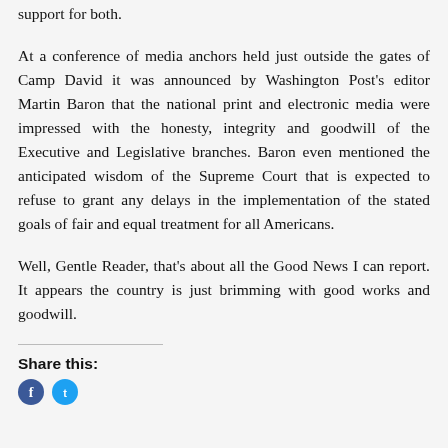support for both.
At a conference of media anchors held just outside the gates of Camp David it was announced by Washington Post's editor Martin Baron that the national print and electronic media were impressed with the honesty, integrity and goodwill of the Executive and Legislative branches. Baron even mentioned the anticipated wisdom of the Supreme Court that is expected to refuse to grant any delays in the implementation of the stated goals of fair and equal treatment for all Americans.
Well, Gentle Reader, that's about all the Good News I can report. It appears the country is just brimming with good works and goodwill.
Share this: